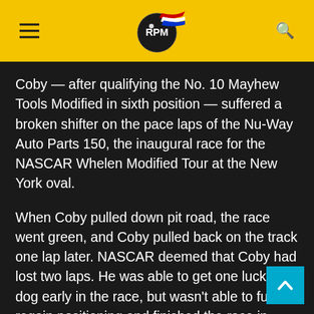RPM logo with hamburger menu and search icon
Coby — after qualifying the No. 10 Mayhew Tools Modified in sixth position — suffered a broken shifter on the pace laps of the Nu-Way Auto Parts 150, the inaugural race for the NASCAR Whelen Modified Tour at the New York oval.
When Coby pulled down pit road, the race went green, and Coby pulled back on the track one lap later. NASCAR deemed that Coby had lost two laps. He was able to get one lucky dog early in the race, but wasn't able to fully regain positioning and finished the race in ninth, the only car one lap down.
“The shifter handle came off on the pace laps a… kinda just snowballed from there,” Coby said. ‘I didn’t think I was going to be able to shift, but there…